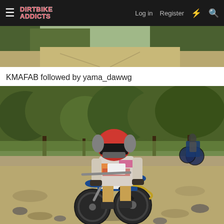Dirt Bike Addicts — Log in  Register
[Figure (photo): Top partial photo of a dirt trail through trees, partially visible at top of page]
KMAFAB followed by yama_dawwg
[Figure (photo): Dirt bike rider in colorful gear and red helmet riding a blue dirt bike on a rocky trail through trees; a second blue dirt bike visible in background right]